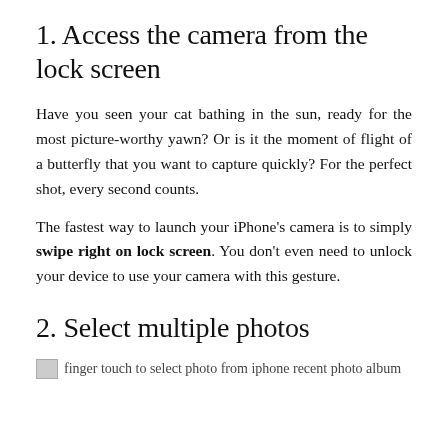1. Access the camera from the lock screen
Have you seen your cat bathing in the sun, ready for the most picture-worthy yawn? Or is it the moment of flight of a butterfly that you want to capture quickly? For the perfect shot, every second counts.
The fastest way to launch your iPhone's camera is to simply swipe right on lock screen. You don't even need to unlock your device to use your camera with this gesture.
2. Select multiple photos
[Figure (photo): finger touch to select photo from iphone recent photo album]